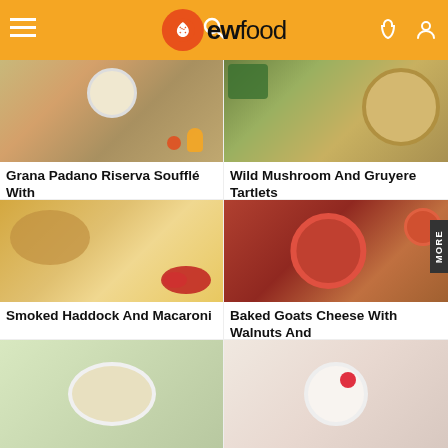EWfood
[Figure (photo): Grana Padano Riserva Soufflé dish with cherry tomatoes and orange juice]
Grana Padano Riserva Soufflé With
[Figure (photo): Wild Mushroom And Gruyere Tartlets with leafy greens]
Wild Mushroom And Gruyere Tartlets
[Figure (photo): Smoked Haddock And Macaroni with cherry tomatoes]
Smoked Haddock And Macaroni
[Figure (photo): Baked Goats Cheese With Walnuts And tomato sauce]
Baked Goats Cheese With Walnuts And
[Figure (photo): Pasta or noodle dish on white plate]
[Figure (photo): Dessert with raspberry on white plate]